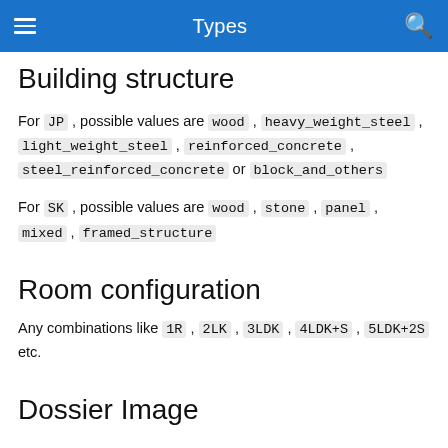Types
Building structure
For JP , possible values are wood , heavy_weight_steel , light_weight_steel , reinforced_concrete , steel_reinforced_concrete or block_and_others
For SK , possible values are wood , stone , panel , mixed , framed_structure
Room configuration
Any combinations like 1R , 2LK , 3LDK , 4LDK+S , 5LDK+2S etc.
Dossier Image